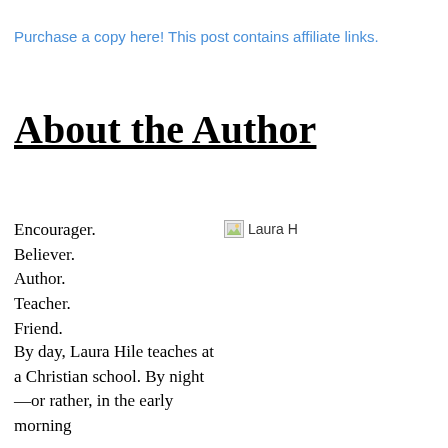Purchase a copy here! This post contains affiliate links.
About the Author
Encourager.
Believer.
Author.
Teacher.
Friend.
[Figure (photo): Photo of Laura H (broken image placeholder showing 'Laura H')]
By day, Laura Hile teaches at a Christian school. By night—or rather, in the early morning